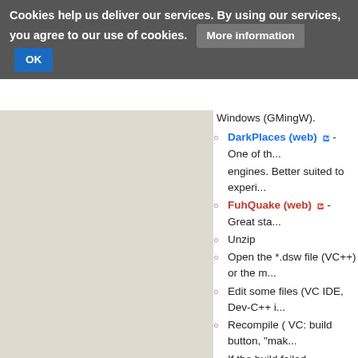Cookies help us deliver our services. By using our services, you agree to our use of cookies. More information OK
DarkPlaces (web) - One of the engines. Better suited to experi...
FuhQuake (web) - Great sta...
Unzip
Open the *.dsw file (VC++) or the m...
Edit some files (VC IDE, Dev-C++ i...
Recompile ( VC: build button, "mak...
If the build failed...
Use your project *.s files? -> the c
Is your project for another comp... compile for Visual C)
Ask at InsideQC
Test Engine
Understanding the code str...
This is a partial list of source files and k... can't find a particular file. If you are mis...
cl_ - client files (demo playback, inp...